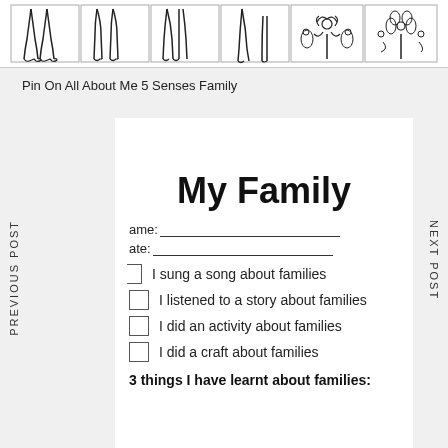[Figure (illustration): Row of illustrated figures showing different leg/foot types and plant/flower shapes in outlined boxes]
Pin On All About Me 5 Senses Family
My Family
ame:___________________________________
ate:___________________________________
I sung a song about families
I listened to a story about families
I did an activity about families
I did a craft about families
3 things I have learnt about families: